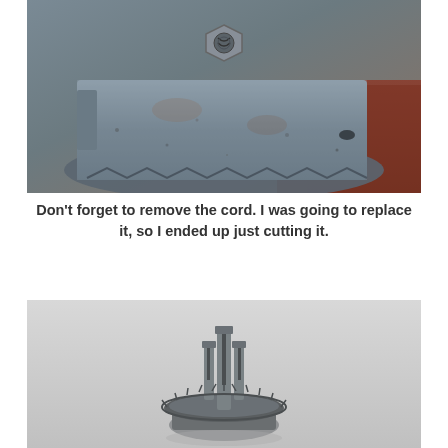[Figure (photo): Close-up photo of a dusty, corroded metal motor or machine base with a bolt/nut fitting visible at the top center, sitting on a reddish-brown wooden surface.]
Don't forget to remove the cord. I was going to replace it, so I ended up just cutting it.
[Figure (photo): Photo of a small metal electrical component (possibly a switch or connector) with two prongs/tabs, viewed from above against a light grey background.]